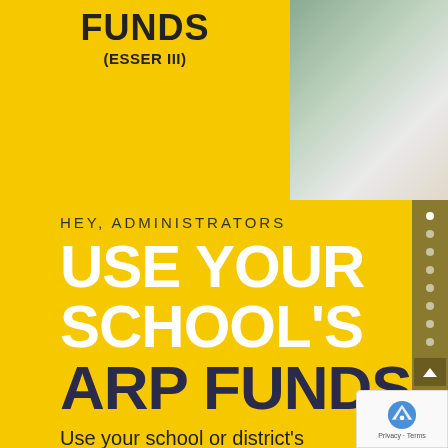[Figure (photo): Top banner with yellow section on the left showing 'FUNDS (ESSER III)' text in bold, and a photo on the right showing a student from behind in a classroom setting.]
HEY, ADMINISTRATORS
USE YOUR SCHOOL'S ARP FUNDS.
Use your school or district's